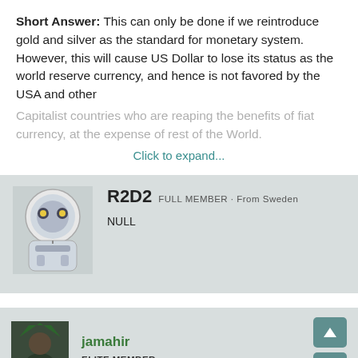Short Answer: This can only be done if we reintroduce gold and silver as the standard for monetary system. However, this will cause US Dollar to lose its status as the world reserve currency, and hence is not favored by the USA and other Capitalist countries who are reaping the benefits of fiat currency, at the expense of rest of the World.
Click to expand...
R2D2 FULL MEMBER · From Sweden
NULL
jamahir
ELITE MEMBER
May 29, 2022
#16